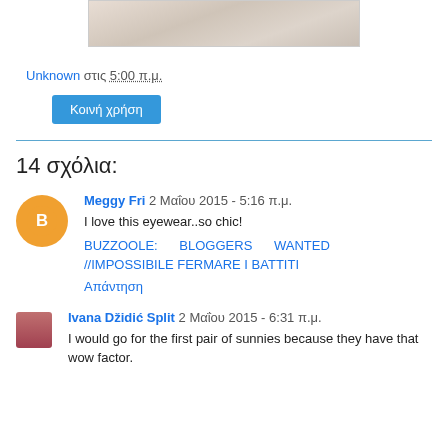[Figure (photo): Partial image at top of page showing white fluffy material]
Unknown στις 5:00 π.μ.
Κοινή χρήση
14 σχόλια:
Meggy Fri 2 Μαΐου 2015 - 5:16 π.μ.
I love this eyewear..so chic!
BUZZOOLE: BLOGGERS WANTED //IMPOSSIBILE FERMARE I BATTITI
Απάντηση
Ivana Džidić Split 2 Μαΐου 2015 - 6:31 π.μ.
I would go for the first pair of sunnies because they have that wow factor.